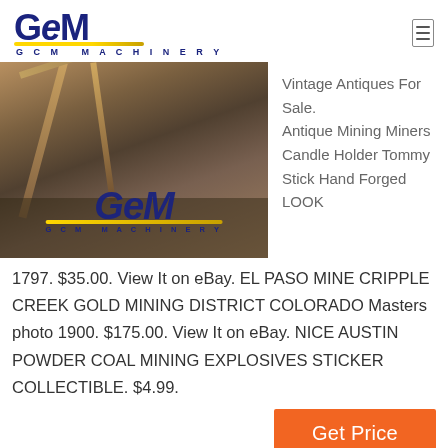GCM MACHINERY
[Figure (photo): Mining/industrial machinery site with GCM logo overlay]
Vintage Antiques For Sale. Antique Mining Miners Candle Holder Tommy Stick Hand Forged LOOK
1797. $35.00. View It on eBay. EL PASO MINE CRIPPLE CREEK GOLD MINING DISTRICT COLORADO Masters photo 1900. $175.00. View It on eBay. NICE AUSTIN POWDER COAL MINING EXPLOSIVES STICKER COLLECTIBLE. $4.99.
Get Price
[Figure (photo): Industrial silos / storage tanks against blue sky]
Antique Mining Equipment For Sale Ca